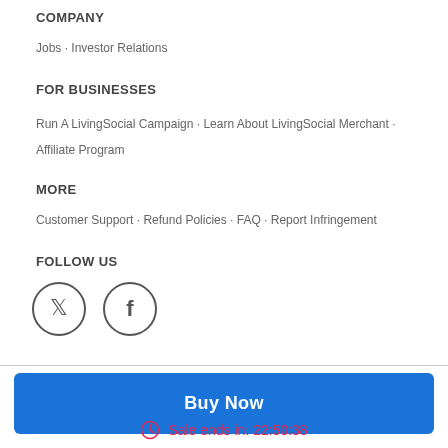COMPANY
Jobs · Investor Relations
FOR BUSINESSES
Run A LivingSocial Campaign · Learn About LivingSocial Merchant · Affiliate Program
MORE
Customer Support · Refund Policies · FAQ · Report Infringement
FOLLOW US
[Figure (illustration): Twitter and Facebook circular icon buttons]
Buy Now
Sale ends in: 22:50:38